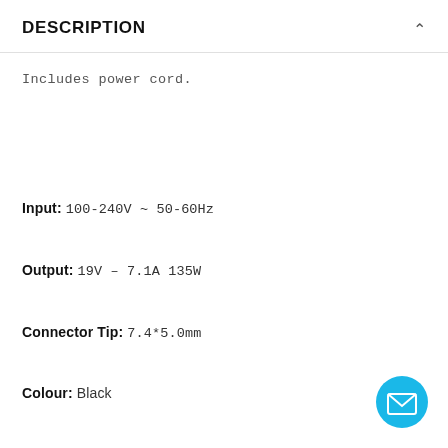DESCRIPTION
Includes power cord.
Input: 100-240V ~ 50-60Hz
Output: 19V – 7.1A 135W
Connector Tip: 7.4*5.0mm
Colour: Black
[Figure (illustration): Blue circular email/contact button with envelope icon in bottom right corner]